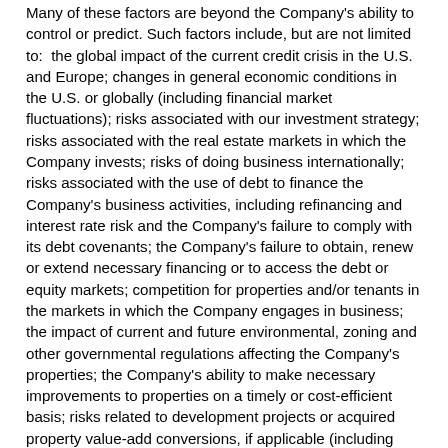Many of these factors are beyond the Company's ability to control or predict. Such factors include, but are not limited to:  the global impact of the current credit crisis in the U.S. and Europe; changes in general economic conditions in the U.S. or globally (including financial market fluctuations); risks associated with our investment strategy; risks associated with the real estate markets in which the Company invests; risks of doing business internationally; risks associated with the use of debt to finance the Company's business activities, including refinancing and interest rate risk and the Company's failure to comply with its debt covenants; the Company's failure to obtain, renew or extend necessary financing or to access the debt or equity markets; competition for properties and/or tenants in the markets in which the Company engages in business; the impact of current and future environmental, zoning and other governmental regulations affecting the Company's properties; the Company's ability to make necessary improvements to properties on a timely or cost-efficient basis; risks related to development projects or acquired property value-add conversions, if applicable (including construction delays, cost overruns, the Company's inability to obtain necessary permits and/or public opposition to these activities); defaults on or non-renewal of leases by tenants; failure to lease properties at all or on